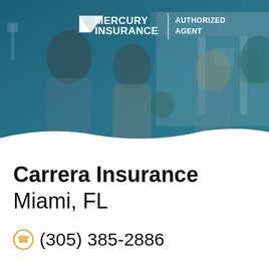[Figure (photo): A family (man, woman holding baby) smiling with an insurance agent woman, in front of a house. Image has a teal/blue overlay tint. Mercury Insurance Authorized Agent logo in top center.]
Carrera Insurance
Miami, FL
(305) 385-2886